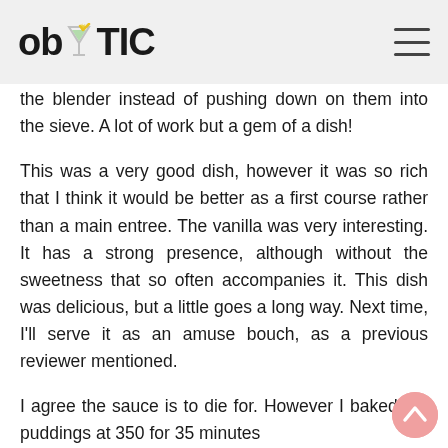ob TIC
the blender instead of pushing down on them into the sieve. A lot of work but a gem of a dish!
This was a very good dish, however it was so rich that I think it would be better as a first course rather than a main entree. The vanilla was very interesting. It has a strong presence, although without the sweetness that so often accompanies it. This dish was delicious, but a little goes a long way. Next time, I'll serve it as an amuse bouch, as a previous reviewer mentioned.
I agree the sauce is to die for. However I baked the puddings at 350 for 35 minutes